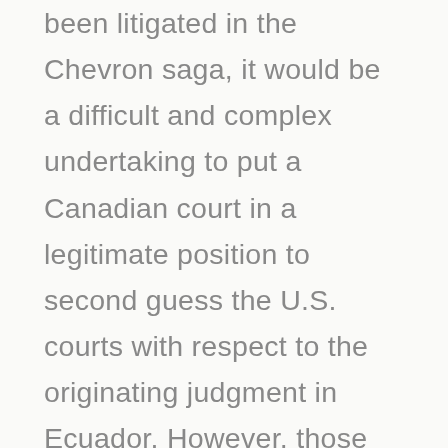been litigated in the Chevron saga, it would be a difficult and complex undertaking to put a Canadian court in a legitimate position to second guess the U.S. courts with respect to the originating judgment in Ecuador. However, those issues, like the initial question of whether an